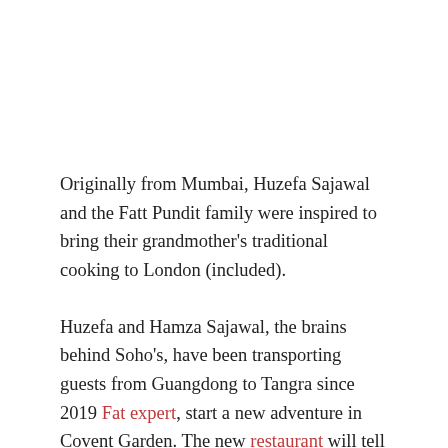Originally from Mumbai, Huzefa Sajawal and the Fatt Pundit family were inspired to bring their grandmother's traditional cooking to London (included).
Huzefa and Hamza Sajawal, the brains behind Soho's, have been transporting guests from Guangdong to Tangra since 2019 Fat expert, start a new adventure in Covent Garden. The new restaurant will tell the story of the special melting pot of cultures found in India's Chinese immigrant community.
Borrowing cult classics from Berwick Street, the new Fatt Pandit brings fresh dishes and a new drink concept to the fore with a